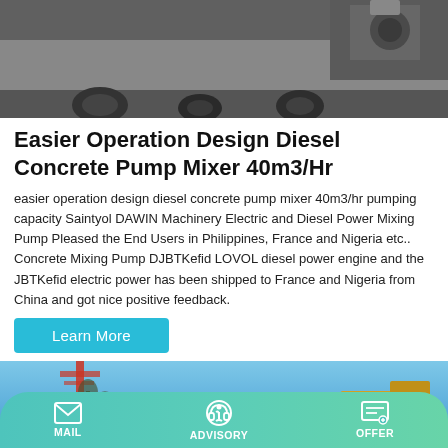[Figure (photo): Top portion of a diesel concrete pump mixer machine on dark gravel/asphalt background, showing wheels and mechanical parts]
Easier Operation Design Diesel Concrete Pump Mixer 40m3/Hr
easier operation design diesel concrete pump mixer 40m3/hr pumping capacity Saintyol DAWIN Machinery Electric and Diesel Power Mixing Pump Pleased the End Users in Philippines, France and Nigeria etc.. Concrete Mixing Pump DJBTKefid LOVOL diesel power engine and the JBTKefid electric power has been shipped to France and Nigeria from China and got nice positive feedback.
Learn More
[Figure (photo): Bottom portion showing another product image with blue sky, red crane/structure and yellow/orange machine parts visible]
MAIL   ADVISORY   OFFER